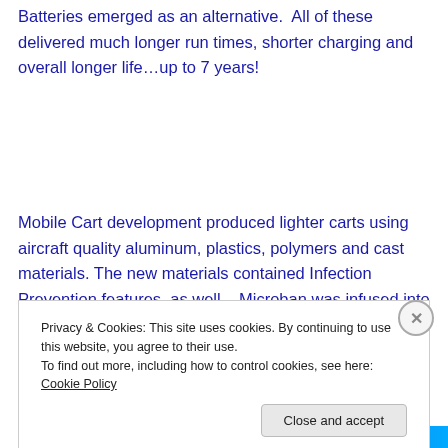Batteries emerged as an alternative.  All of these delivered much longer run times, shorter charging and overall longer life…up to 7 years!
Mobile Cart development produced lighter carts using aircraft quality aluminum, plastics, polymers and cast materials. The new materials contained Infection Prevention features, as well – Microban was infused into
Privacy & Cookies: This site uses cookies. By continuing to use this website, you agree to their use.
To find out more, including how to control cookies, see here: Cookie Policy